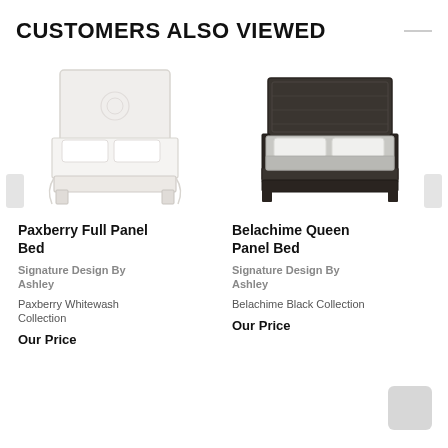CUSTOMERS ALSO VIEWED
[Figure (photo): Paxberry Full Panel Bed in whitewash finish, single bed with upholstered headboard]
Paxberry Full Panel Bed
Signature Design By Ashley
Paxberry Whitewash Collection
Our Price
[Figure (photo): Belachime Queen Panel Bed in black finish, queen size bed with dark panel headboard]
Belachime Queen Panel Bed
Signature Design By Ashley
Belachime Black Collection
Our Price